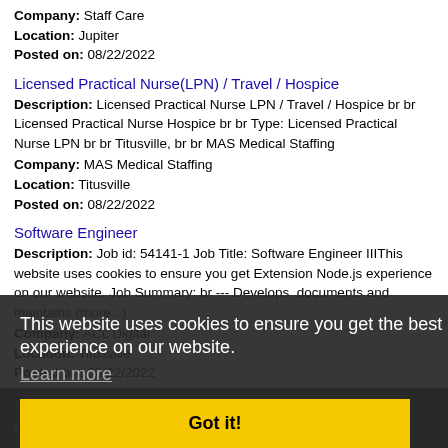Company: Staff Care
Location: Jupiter
Posted on: 08/22/2022
Licensed Practical Nurse(LPN) / Travel / Hospice
Description: Licensed Practical Nurse LPN / Travel / Hospice br br Licensed Practical Nurse Hospice br br Type: Licensed Practical Nurse LPN br br Titusville, br br MAS Medical Staffing
Company: MAS Medical Staffing
Location: Titusville
Posted on: 08/22/2022
Software Engineer
Description: Job id: 54141-1 Job Title: Software Engineer IIIThis website uses cookies to ensure you get Extension Node.js experience on our website. Job Summary: br --- Develops, documents and maintains (more...)
Company: ACL Digital
Location: Titusville
Posted on: 08/22/2022
This website uses cookies to ensure you get the best experience on our website.
Learn more
Got it!
Salary in South Beach, Florida Area | More details for South Beach, Florida Jobs |Salary